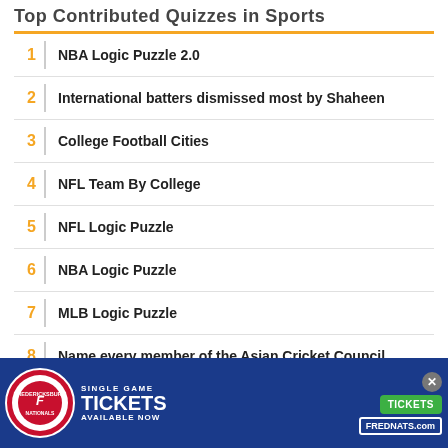Top Contributed Quizzes in Sports
1  NBA Logic Puzzle 2.0
2  International batters dismissed most by Shaheen
3  College Football Cities
4  NFL Team By College
5  NFL Logic Puzzle
6  NBA Logic Puzzle
7  MLB Logic Puzzle
8  Name every member of the Asian Cricket Council
9  MLB Team Logos Minefield
[Figure (photo): Advertisement banner for Fredericksburg Nationals single game tickets available now, featuring a baseball player batting, FREDNATS.com branding, and a green TICKETS button.]